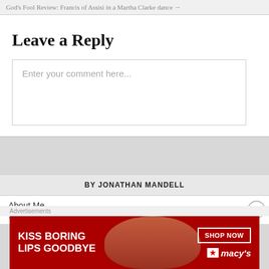God's Fool Review: Francis of Assisi in a Martha Clarke dance →
Leave a Reply
Enter your comment here...
BY JONATHAN MANDELL
About Me
[Figure (advertisement): Macy's lipstick advertisement: KISS BORING LIPS GOODBYE with SHOP NOW button and Macy's star logo on red background]
Advertisements